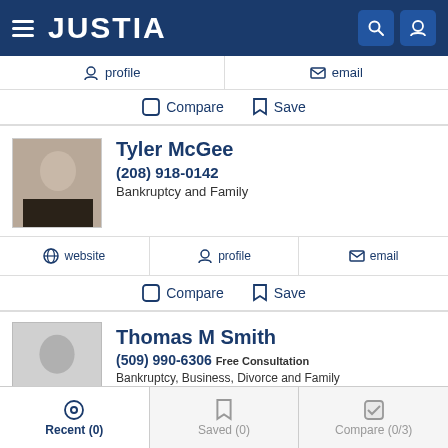JUSTIA
profile  |  email
Compare  Save
Tyler McGee
(208) 918-0142
Bankruptcy and Family
website  profile  email
Compare  Save
Thomas M Smith
(509) 990-6306  Free Consultation
Bankruptcy, Business, Divorce and Family
Recent (0)  Saved (0)  Compare (0/3)